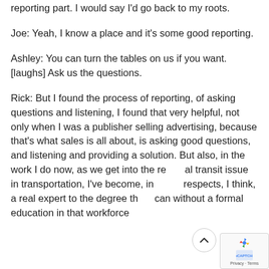reporting part. I would say I'd go back to my roots.
Joe: Yeah, I know a place and it's some good reporting.
Ashley: You can turn the tables on us if you want. [laughs] Ask us the questions.
Rick: But I found the process of reporting, of asking questions and listening, I found that very helpful, not only when I was a publisher selling advertising, because that's what sales is all about, is asking good questions, and listening and providing a solution. But also, in the work I do now, as we get into the regional transit issue in transportation, I've become, in many respects, I think, a real expert to the degree that I can without a formal education in that workforce